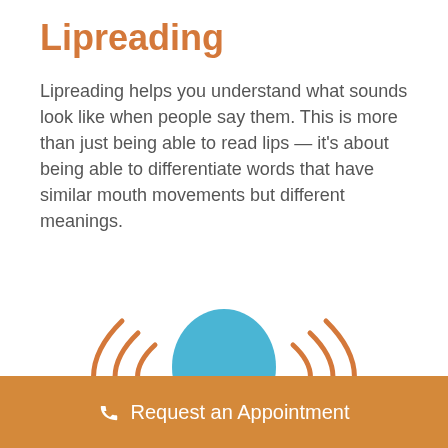Lipreading
Lipreading helps you understand what sounds look like when people say them. This is more than just being able to read lips — it's about being able to differentiate words that have similar mouth movements but different meanings.
[Figure (illustration): Blue silhouette of a person's head viewed from behind, with orange sound wave arcs on both sides indicating sound coming from both directions.]
Request an Appointment